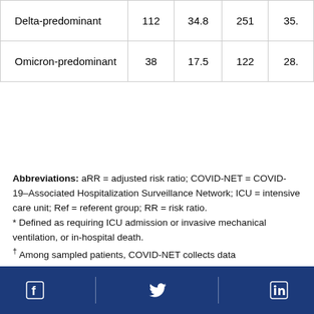| Delta-predominant | 112 | 34.8 | 251 | 35. |
| Omicron-predominant | 38 | 17.5 | 122 | 28. |
Abbreviations: aRR = adjusted risk ratio; COVID-NET = COVID-19–Associated Hospitalization Surveillance Network; ICU = intensive care unit; Ref = referent group; RR = risk ratio.
* Defined as requiring ICU admission or invasive mechanical ventilation, or in-hospital death.
† Among sampled patients, COVID-NET collects data
Facebook | Twitter | LinkedIn